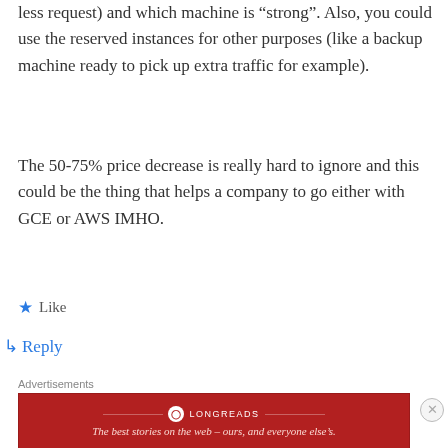less request) and which machine is “strong”. Also, you could use the reserved instances for other purposes (like a backup machine ready to pick up extra traffic for example).
The 50-75% price decrease is really hard to ignore and this could be the thing that helps a company to go either with GCE or AWS IMHO.
★ Like
↳ Reply
Advertisements
[Figure (infographic): Longreads advertisement banner in red with logo and tagline: The best stories on the web – ours, and everyone else’s.]
Advertisements
[Figure (infographic): Ulta Beauty advertisement banner showing makeup images and SHOP NOW call to action.]